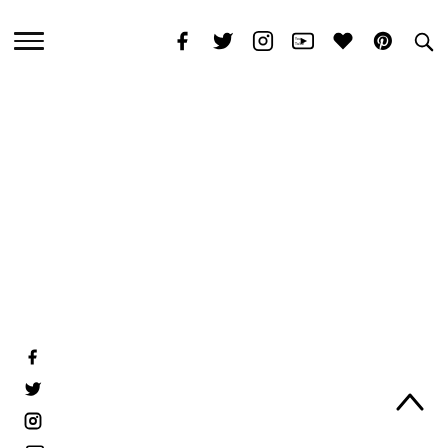≡ [social icons: facebook, twitter, instagram, youtube, heart, pinterest, search]
[Figure (screenshot): Blank white space / image area below header]
[Figure (infographic): Vertical sidebar social icons: facebook, twitter, instagram, youtube, heart, pinterest]
CELEB BEAUTÉ: Celeb Lash
My friends always tell me that I have long lashes but no, it's actually just medium long length. I do need help with falsies on certain occasion for that dramatic look. :p What to love for Celeb Lash? They are handmade, simple to use and comfortable to wear. Each Celeb Lash design is perfectly shaped and arranged to give a striking effect, whether the look natural or dramatic.